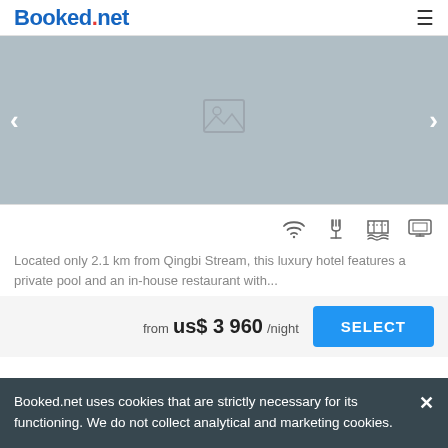Booked.net
[Figure (photo): Gray placeholder image area with image icon in center, left and right navigation arrows]
[Figure (infographic): Amenity icons: WiFi, restaurant/dining, pool, TV/monitor]
Located only 2.1 km from Qingbi Stream, this luxury hotel features a private pool and an in-house restaurant with...
from us$ 3 960/night
SELECT
Booked.net uses cookies that are strictly necessary for its functioning. We do not collect analytical and marketing cookies.